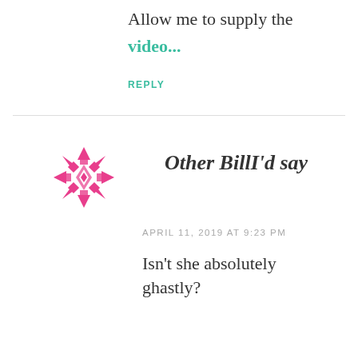Allow me to supply the
video...
REPLY
Other BillI'd say
APRIL 11, 2019 AT 9:23 PM
Isn't she absolutely ghastly?